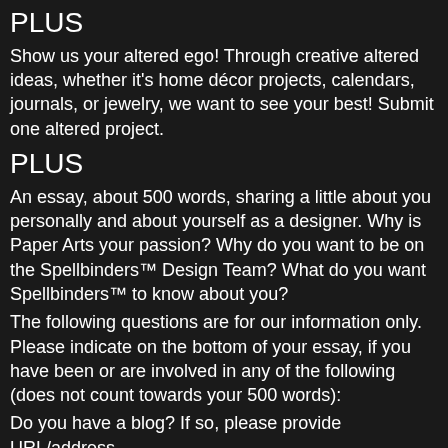PLUS
Show us your altered ego! Through creative altered ideas, whether it's home décor projects, calendars, journals, or jewelry, we want to see your best! Submit one altered project.
PLUS
An essay, about 500 words, sharing a little about you personally and about yourself as a designer. Why is Paper Arts your passion? Why do you want to be on the Spellbinders™ Design Team? What do you want Spellbinders™ to know about you?
The following questions are for our information only. Please indicate on the bottom of your essay, if you have been or are involved in any of the following (does not count towards your 500 words):
Do you have a blog? If so, please provide URL/address.
Has your work been published? If so, please indicate where/in which publications and provide URLs/links if possible.
Do you have a Creative Resume? If so, please provide URL/address.
Do you now or have you participated other Design Teams?*
If so, please provide URLs/links...